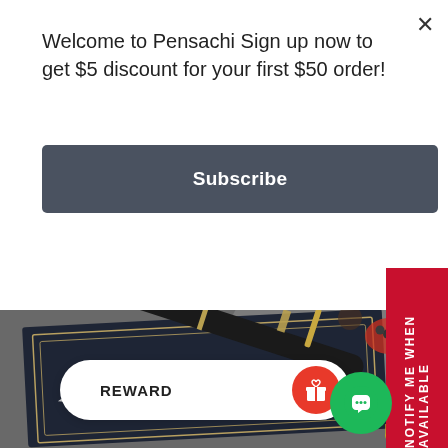Welcome to Pensachi Sign up now to get $5 discount for your first $50 order!
Subscribe
[Figure (photo): A black fountain pen resting on a dark navy diary book labeled 'DIARY BOOK', surrounded by decorative items on a marble surface. A gold cylindrical object is visible at bottom right.]
NOTIFY ME WHEN AVAILABLE
REWARD